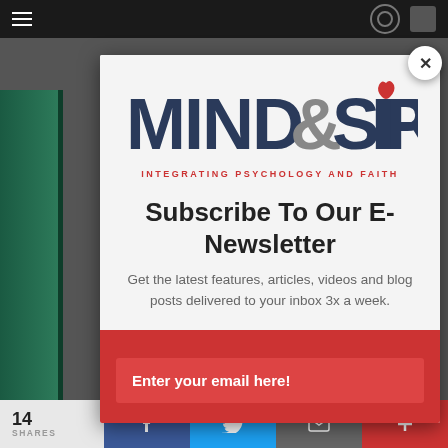[Figure (screenshot): Website screenshot showing a Mind & Spirit newsletter subscription modal popup overlay on a dark/gray website background. The modal contains the Mind & Spirit logo, a subscribe heading, descriptive text, and a red email input section.]
MIND&SPIRIT
INTEGRATING PSYCHOLOGY AND FAITH
Subscribe To Our E-Newsletter
Get the latest features, articles, videos and blog posts delivered to your inbox 3x a week.
Enter your email here!
14 SHARES